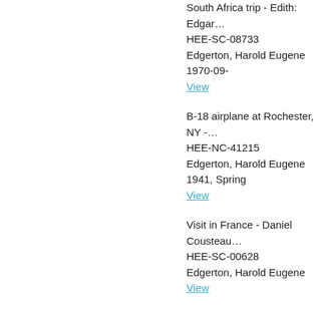South Africa trip - Edith: Edgar...
HEE-SC-08733
Edgerton, Harold Eugene
1970-09-
View
B-18 airplane at Rochester, NY - ...
HEE-NC-41215
Edgerton, Harold Eugene
1941, Spring
View
Visit in France - Daniel Cousteau...
HEE-SC-00628
Edgerton, Harold Eugene
View